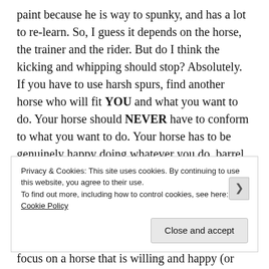paint because he is way to spunky, and has a lot to re-learn. So, I guess it depends on the horse, the trainer and the rider. But do I think the kicking and whipping should stop? Absolutely. If you have to use harsh spurs, find another horse who will fit YOU and what you want to do. Your horse should NEVER have to conform to what you want to do. Your horse has to be genuinely happy doing whatever you do, barrel racing, jumping, dressage, etc. That is the main problem now-a-days with people purchasing or adopting horses that eventually end up at the auction or unsuitable homes; people purchase based on looks and breed. Instead you need to focus on a horse that is willing and happy (or trained) to do whatever
Privacy & Cookies: This site uses cookies. By continuing to use this website, you agree to their use.
To find out more, including how to control cookies, see here: Cookie Policy
Close and accept